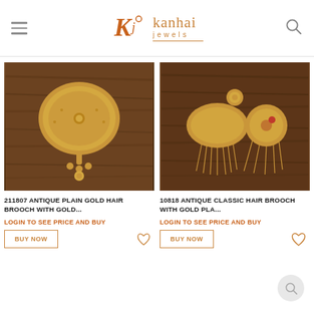Kanhai Jewels
[Figure (photo): Antique plain gold hair brooch on dark wood background]
211807 ANTIQUE PLAIN GOLD HAIR BROOCH WITH GOLD...
LOGIN TO SEE PRICE AND BUY
BUY NOW
[Figure (photo): Antique classic hair brooch with gold plating on dark wood background]
10818 ANTIQUE CLASSIC HAIR BROOCH WITH GOLD PLA...
LOGIN TO SEE PRICE AND BUY
BUY NOW